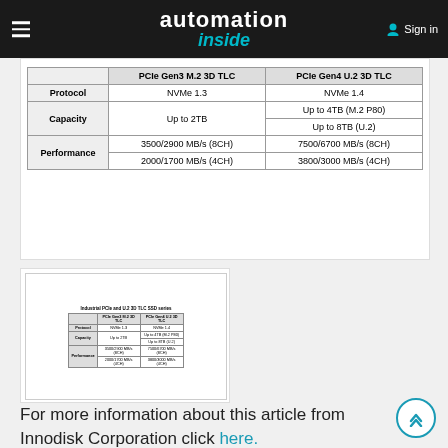automation inside — Sign in
|  | PCIe Gen3 M2 3D TLC | PCIe Gen4 U.2 3D TLC |
| --- | --- | --- |
| Protocol | NVMe 1.3 | NVMe 1.4 |
| Capacity | Up to 2TB | Up to 4TB (M.2 P80)
Up to 8TB (U.2) |
| Performance | 3500/2900 MB/s (8CH) | 7500/6700 MB/s (8CH) |
| Performance | 2000/1700 MB/s (4CH) | 3800/3000 MB/s (4CH) |
[Figure (table-as-image): Thumbnail preview image of the same Industrial PCIe SSD comparison table]
For more information about this article from Innodisk Corporation click here.